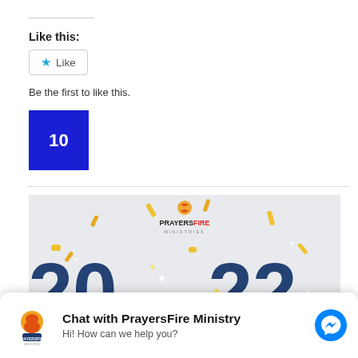Like this:
[Figure (other): Like button widget with star icon]
Be the first to like this.
[Figure (other): Blue square with number 10]
[Figure (other): PrayersFire Ministries 2022 banner image with gold confetti]
[Figure (other): Chat with PrayersFire Ministry widget with Messenger icon. Hi! How can we help you?]